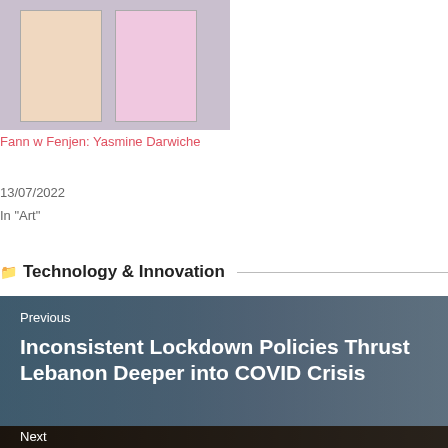[Figure (photo): Two framed artworks displayed side by side with decorative figures]
Fann w Fenjen: Yasmine Darwiche
13/07/2022
In "Art"
Technology & Innovation
[Figure (photo): People in crowd scene, lockdown related image with semi-transparent dark overlay]
Previous
Inconsistent Lockdown Policies Thrust Lebanon Deeper into COVID Crisis
[Figure (photo): Hands exchanging money, partially visible at bottom]
Next